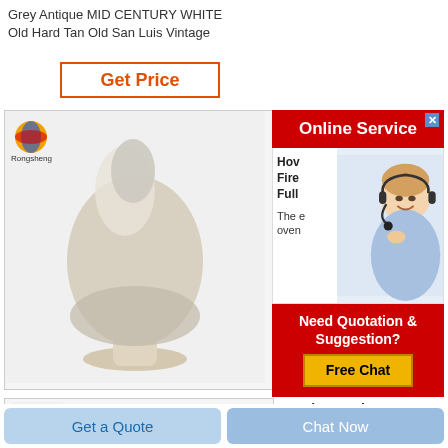Grey Antique MID CENTURY WHITE
Old Hard Tan Old San Luis Vintage
Get Price
[Figure (photo): Product photo of a white/grey powder mound on a pedestal bowl, with Rongsheng logo in top-left corner]
[Figure (infographic): Online Service advertisement panel with red header, customer service representative photo, and Free Chat button]
[Figure (photo): Second product thumbnail with Rongsheng logo]
Mexico Real Estate Homes For Sale in
Get a Quote
Chat Now